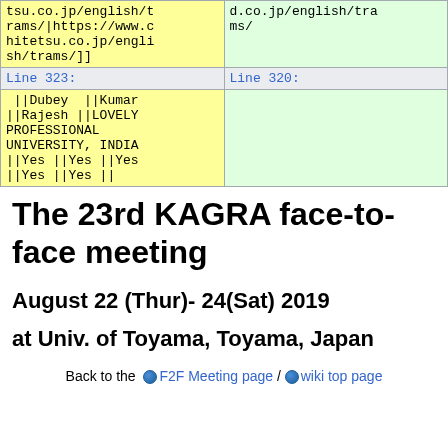| Line 323: | Line 320: |
| --- | --- |
| tsu.co.jp/english/trams/|https://www.chitetsu.co.jp/english/trams/]] | d.co.jp/english/trams/ |
| ||Dubey ||Kumar ||Rajesh ||LOVELY PROFESSIONAL UNIVERSITY, INDIA ||Yes ||Yes ||Yes ||Yes ||Yes || |  |
The 23rd KAGRA face-to-face meeting
August 22 (Thur)- 24(Sat) 2019
at Univ. of Toyama, Toyama, Japan
Back to the  F2F Meeting page /  wiki top page